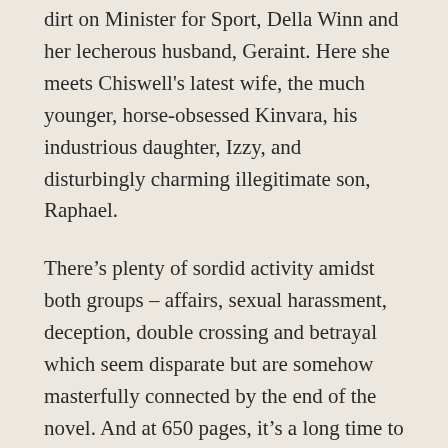dirt on Minister for Sport, Della Winn and her lecherous husband, Geraint. Here she meets Chiswell's latest wife, the much younger, horse-obsessed Kinvara, his industrious daughter, Izzy, and disturbingly charming illegitimate son, Raphael.
There's plenty of sordid activity amidst both groups – affairs, sexual harassment, deception, double crossing and betrayal which seem disparate but are somehow masterfully connected by the end of the novel. And at 650 pages, it's a long time to wait for answers. However, I was so absorbed in the story that by the time we finally reached the end of Part 1, and the suitably gruesome and dramatic discovery of the dead body, I'd forgotten I was reading a murder mystery. In fact, there's so much going on it's impossible for the reader to